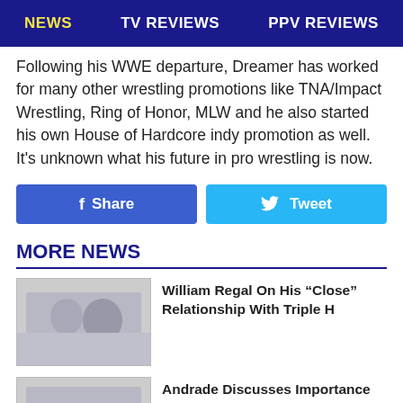NEWS  TV REVIEWS  PPV REVIEWS
Following his WWE departure, Dreamer has worked for many other wrestling promotions like TNA/Impact Wrestling, Ring of Honor, MLW and he also started his own House of Hardcore indy promotion as well. It’s unknown what his future in pro wrestling is now.
Share
Tweet
MORE NEWS
[Figure (photo): Thumbnail photo placeholder for William Regal article]
William Regal On His “Close” Relationship With Triple H
[Figure (photo): Thumbnail photo placeholder for Andrade article]
Andrade Discusses Importance Of Ric Flair’s Last Match